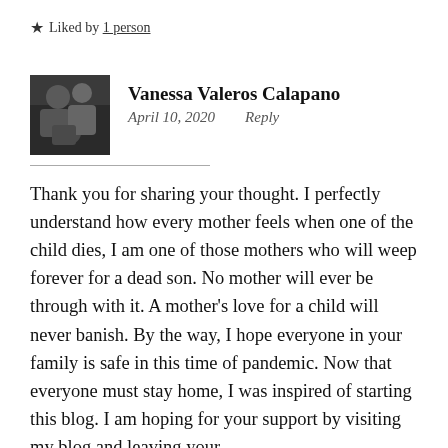★ Liked by 1 person
Vanessa Valeros Calapano
April 10, 2020   Reply
Thank you for sharing your thought. I perfectly understand how every mother feels when one of the child dies, I am one of those mothers who will weep forever for a dead son. No mother will ever be through with it. A mother's love for a child will never banish. By the way, I hope everyone in your family is safe in this time of pandemic. Now that everyone must stay home, I was inspired of starting this blog. I am hoping for your support by visiting my blog and leaving your